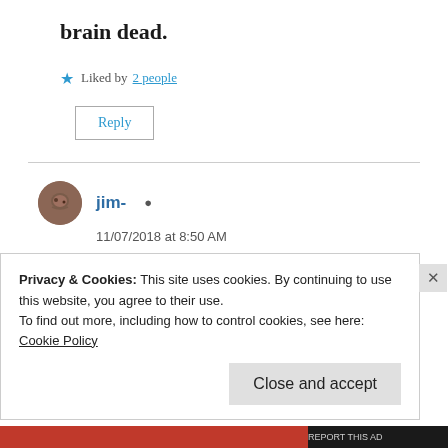brain dead.
★ Liked by 2 people
Reply
jim- (author icon)
11/07/2018 at 8:50 AM
I'm in a conversation with another
Privacy & Cookies: This site uses cookies. By continuing to use this website, you agree to their use.
To find out more, including how to control cookies, see here:
Cookie Policy
Close and accept